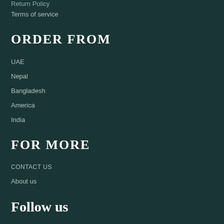Return Policy
Terms of service
ORDER FROM
UAE
Nepal
Bangladesh
America
India
FOR MORE
CONTACT US
About us
Follow us